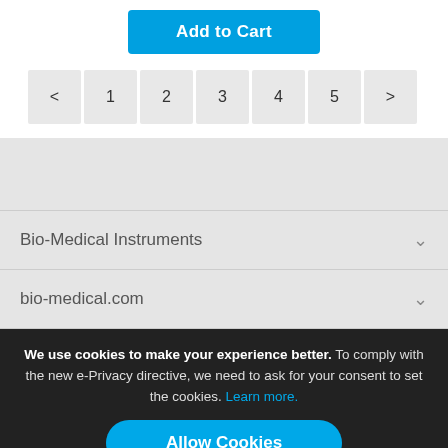Add to Cart
< 1 2 3 4 5 >
Bio-Medical Instruments
bio-medical.com
We use cookies to make your experience better. To comply with the new e-Privacy directive, we need to ask for your consent to set the cookies. Learn more.
Allow Cookies
LOYALTY REWARDS